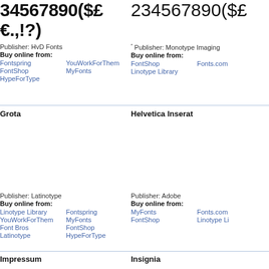34567890($£€.,!?)
234567890($£
Publisher: HvD Fonts
Buy online from:
Fontspring YouWorkForThem FontShop MyFonts HypeForType
Publisher: Monotype Imaging
Buy online from:
FontShop Fonts.com Linotype Library
Grota
Helvetica Inserat
Publisher: Latinotype
Buy online from:
Linotype Library Fontspring YouWorkForThem MyFonts Font Bros FontShop Latinotype HypeForType
Publisher: Adobe
Buy online from:
MyFonts Fonts.com FontShop Linotype Li
Impressum
Insignia